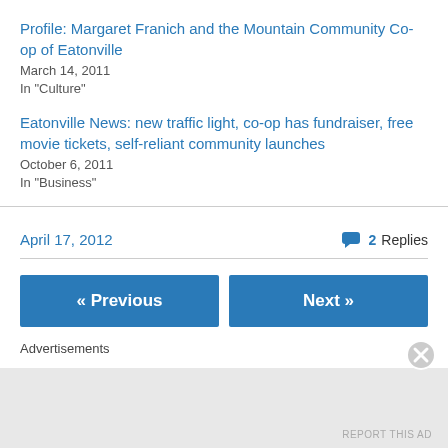Profile: Margaret Franich and the Mountain Community Co-op of Eatonville
March 14, 2011
In "Culture"
Eatonville News: new traffic light, co-op has fundraiser, free movie tickets, self-reliant community launches
October 6, 2011
In "Business"
April 17, 2012
2 Replies
« Previous
Next »
Advertisements